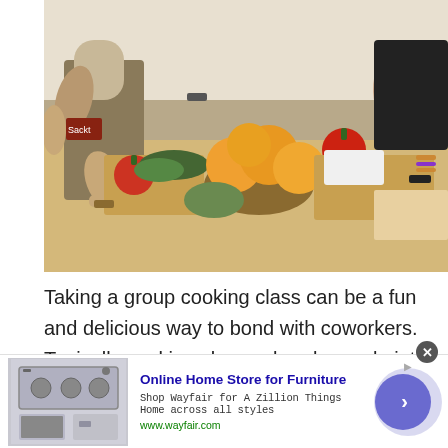[Figure (photo): People at a group cooking class working at a table covered with vegetables, tomatoes, leafy greens, and a bowl of oranges/grapefruits. Multiple hands and people visible from waist/chest down.]
Taking a group cooking class can be a fun and delicious way to bond with coworkers. Typically cooking classes break people into groups of a few. Those few people have to work together to come out with a yummy end result.
[Figure (screenshot): Advertisement banner for Wayfair: Online Home Store for Furniture. Shows appliance/furniture image on left, text 'Online Home Store for Furniture', 'Shop Wayfair for A Zillion Things Home across all styles', 'www.wayfair.com', and a purple circular button with chevron on right. Close button (X) at top right.]